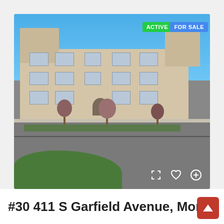[Figure (photo): Exterior photo of a 3-story tan/beige stucco apartment or condominium building at 411 S Garfield Avenue. The building is photographed from across a wide street. Blue sky background, trees in front of the building, green shrubs in the foreground. Overlaid badges show 'ACTIVE' in green and 'FOR SALE' in blue in the upper right of the photo. Three icon buttons (expand, heart, plus) appear in the lower right corner of the photo.]
#30 411 S Garfield Avenue, Mon...